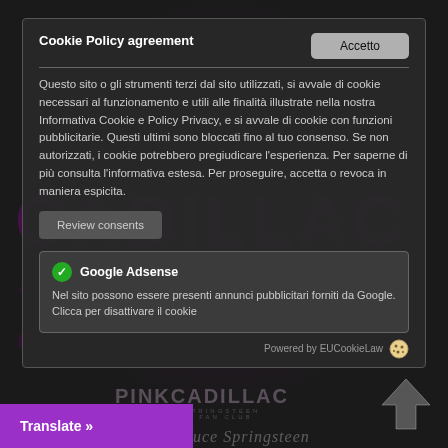Cookie Policy agreement
Questo sito o gli strumenti terzi dal sito utilizzati, si avvale di cookie necessari al funzionamento e utili alle finalità illustrate nella nostra Informativa Cookie e Policy Privacy, e si avvale di cookie con funzioni pubblicitarie. Questi ultimi sono bloccati fino al tuo consenso. Se non autorizzati, i cookie potrebbero pregiudicare l'esperienza. Per saperne di più consulta l'informativa estesa. Per proseguire, accetta o revoca in maniera espicita.
Review consents
Google Adsense
Nel sito possono essere presenti annunci pubblicitari forniti da Google. Clicca per disattivare il cookie
Powered by EUCookieLaw
Translate »